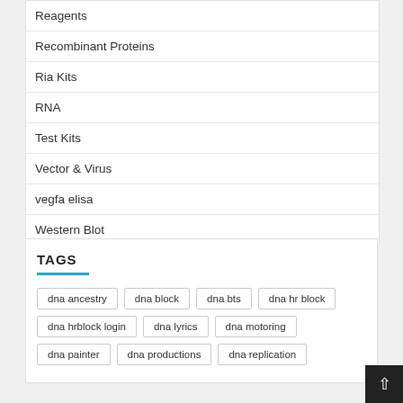Reagents
Recombinant Proteins
Ria Kits
RNA
Test Kits
Vector & Virus
vegfa elisa
Western Blot
TAGS
dna ancestry
dna block
dna bts
dna hr block
dna hrblock login
dna lyrics
dna motoring
dna painter
dna productions
dna replication